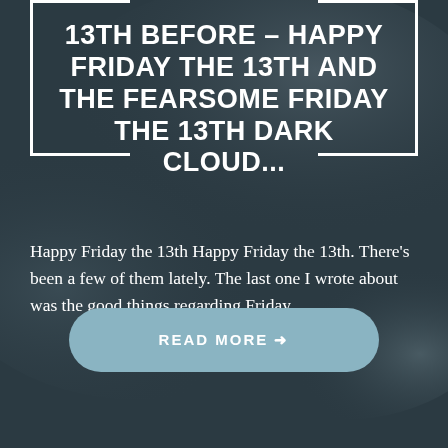13TH BEFORE – HAPPY FRIDAY THE 13TH AND THE FEARSOME FRIDAY THE 13TH DARK CLOUD...
Happy Friday the 13th Happy Friday the 13th. There's been a few of them lately. The last one I wrote about was the good things regarding Friday...
READ MORE →